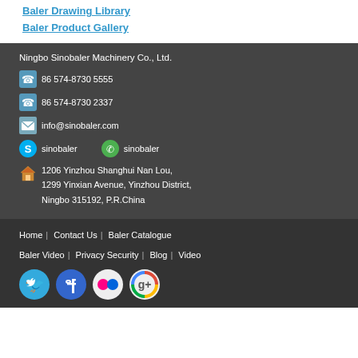Baler Drawing Library
Baler Product Gallery
Ningbo Sinobaler Machinery Co., Ltd.
86 574-8730 5555
86 574-8730 2337
info@sinobaler.com
sinobaler (Skype)   sinobaler (WhatsApp)
1206 Yinzhou Shanghui Nan Lou,
1299 Yinxian Avenue, Yinzhou District,
Ningbo 315192, P.R.China
Home  |  Contact Us  |  Baler Catalogue
Baler Video  |  Privacy Security  |  Blog  |  Video
[Figure (other): Social media icons: Twitter (blue bird), Facebook (blue f), Flickr (pink/red dots), Google+ (colored G)]